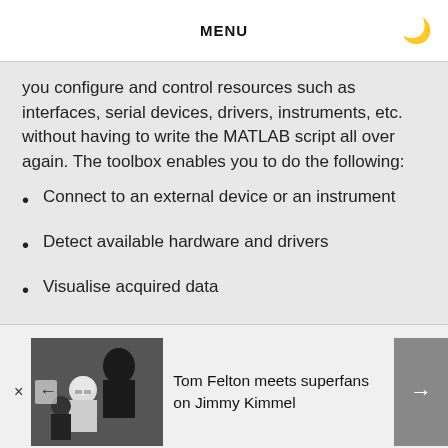MENU
you configure and control resources such as interfaces, serial devices, drivers, instruments, etc. without having to write the MATLAB script all over again.  The toolbox enables you to do the following:
Connect to an external device or an instrument
Detect available hardware and drivers
Visualise acquired data
[Figure (photo): Advertisement banner showing Tom Felton meets superfans on Jimmy Kimmel, with a Star Wars themed image showing Darth Vader and Stormtrooper characters]